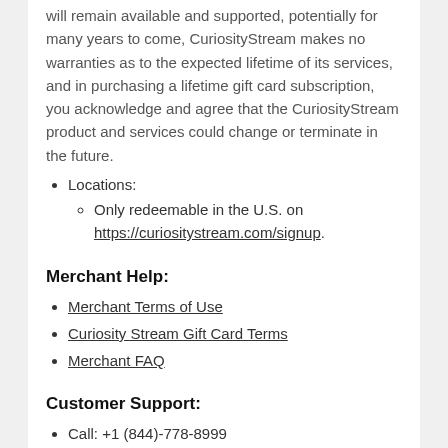will remain available and supported, potentially for many years to come, CuriosityStream makes no warranties as to the expected lifetime of its services, and in purchasing a lifetime gift card subscription, you acknowledge and agree that the CuriosityStream product and services could change or terminate in the future.
Locations:
Only redeemable in the U.S. on https://curiositystream.com/signup.
Merchant Help:
Merchant Terms of Use
Curiosity Stream Gift Card Terms
Merchant FAQ
Customer Support:
Call: +1 (844)-778-8999